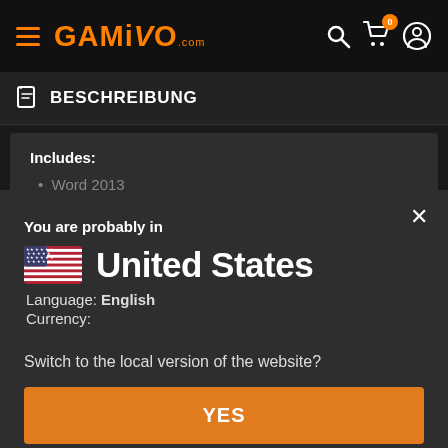GAMIVO.com — navigation bar with hamburger menu, logo, search, cart (0), user icon
BESCHREIBUNG
Includes: • Word 2013
You are probably in
United States
Language: English
Currency:
Switch to the local version of the website?
YES